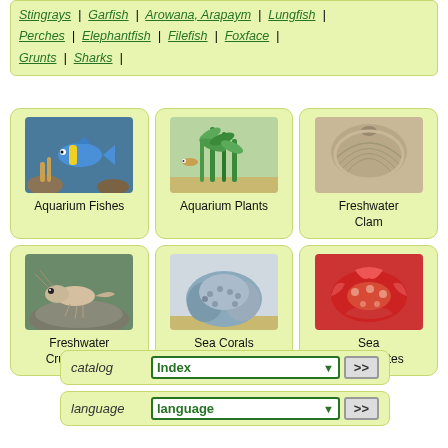Stingrays | Garfish | Arowana, Arapaym | Lungfish | Perches | Elephantfish | Filefish | Foxface | Grunts | Sharks |
[Figure (illustration): Six category cards in a 3x2 grid on light yellow-green background: Aquarium Fishes (colorful fish), Aquarium Plants (green aquatic plants), Freshwater Clam (shell), Freshwater Crustaceans (shrimp/crab), Sea Corals (blue-gray coral), Sea Invertebrates (red sea creature)]
catalog  Index >>
language  language >>